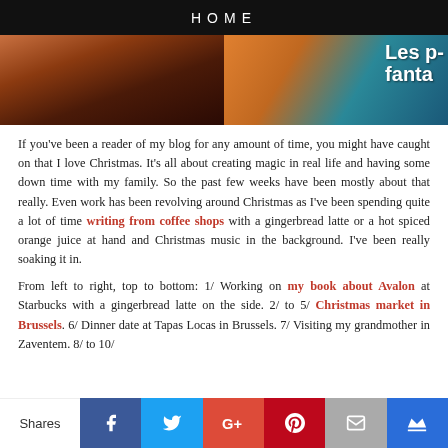HOME
[Figure (photo): Two photos side by side: left shows a warm-toned amber/brown photo (cat or hair), right shows books including one titled 'Les Fantômes' or similar in teal/blue tones]
If you've been a reader of my blog for any amount of time, you might have caught on that I love Christmas. It's all about creating magic in real life and having some down time with my family. So the past few weeks have been mostly about that really. Even work has been revolving around Christmas as I've been spending quite a lot of time writing from coffee shops with a gingerbread latte or a hot spiced orange juice at hand and Christmas music in the background. I've been really soaking it in.
From left to right, top to bottom: 1/ Working on my book about Avalon at Starbucks with a gingerbread latte on the side. 2/ to 5/ Christmas market in Brussels. 6/ Dinner date at Tapas Locas in Brussels. 7/ Visiting my grandmother in Zaventem. 8/ to 10/
Shares [Facebook] [Twitter] [Google+] [Pinterest] [Email] [Crown]